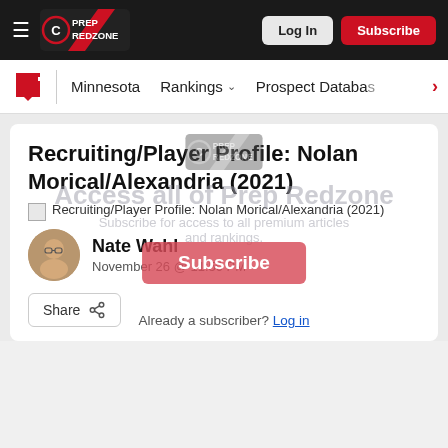Prep Redzone — Log In | Subscribe
Minnesota   Rankings ˅   Prospect Database >
Recruiting/Player Profile: Nolan Morical/Alexandria (2021)
[Figure (screenshot): Broken image placeholder for article photo captioned: Recruiting/Player Profile: Nolan Morical/Alexandria (2021)]
Recruiting/Player Profile: Nolan Morical/Alexandria (2021)
Nate Wahl
November 26 @ 11:50 PM
Share
Access all of Prep Redzone
Subscribe for access to all premium articles and rankings.
Subscribe
Already a subscriber? Log in